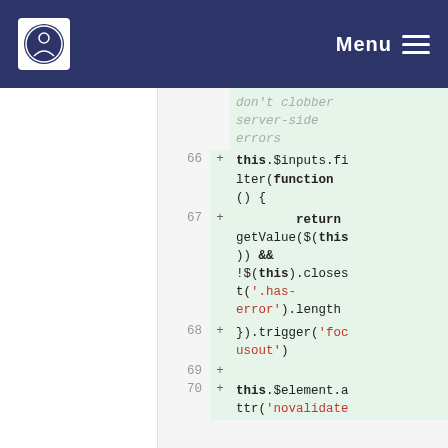Menu
[Figure (screenshot): Code diff screenshot showing JavaScript code with line numbers 66-70, added lines marked with '+'. Code includes this.$inputs.filter(function() { return getValue($(this)) && !$(this).closest('.has-error').length }).trigger('focusout') and this.$element.attr('novalidate'). Top comment reads 'don't clobber server-side errors'.]